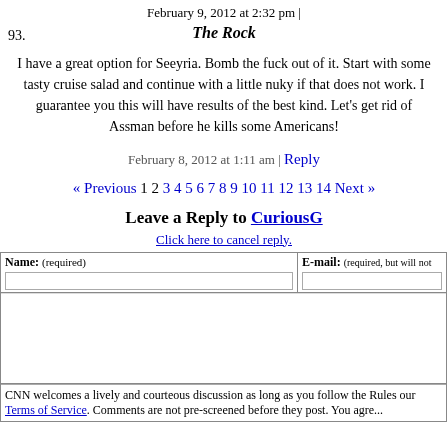February 9, 2012 at 2:32 pm | The Rock
93.
I have a great option for Seeyria. Bomb the fuck out of it. Start with some tasty cruise salad and continue with a little nuky if that does not work. I guarantee you this will have results of the best kind. Let's get rid of Assman before he kills some Americans!
February 8, 2012 at 1:11 am | Reply
« Previous 1 2 3 4 5 6 7 8 9 10 11 12 13 14 Next »
Leave a Reply to CuriousG
Click here to cancel reply.
| Name: (required) | E-mail: (required, but will not  |
| --- | --- |
|  |   |
CNN welcomes a lively and courteous discussion as long as you follow the Rules our Terms of Service. Comments are not pre-screened before they post. You agre...